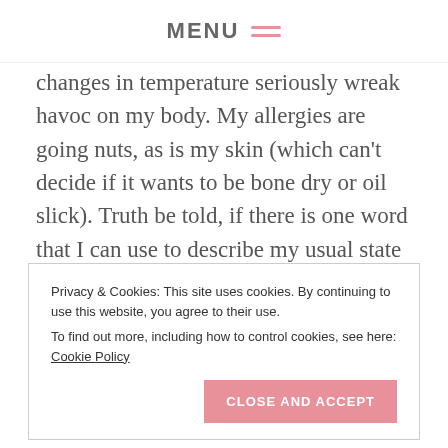MENU ☰
changes in temperature seriously wreak havoc on my body. My allergies are going nuts, as is my skin (which can't decide if it wants to be bone dry or oil slick). Truth be told, if there is one word that I can use to describe my usual state of existence between January and April living here in New England, it's uncomfortable.
Privacy & Cookies: This site uses cookies. By continuing to use this website, you agree to their use. To find out more, including how to control cookies, see here: Cookie Policy
CLOSE AND ACCEPT